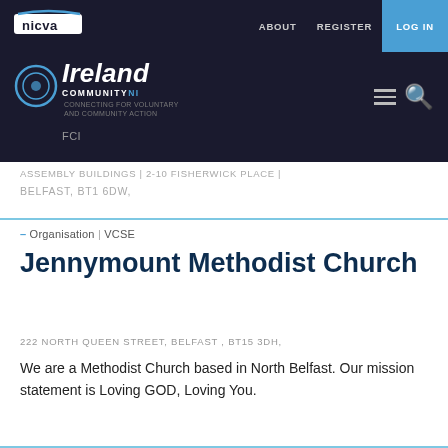nicva | ABOUT | REGISTER | LOG IN
[Figure (logo): NICVA logo with Northern Ireland Community Voluntary and Arts branding]
ASSEMBLY BUILDINGS | 2-10 FISHERWICK PLACE | BELFAST, BT1 6DW,
– Organisation | VCSE
Jennymount Methodist Church
222 NORTH QUEEN STREET, BELFAST , BT15 3DH,
We are a Methodist Church based in North Belfast. Our mission statement is Loving GOD, Loving You.